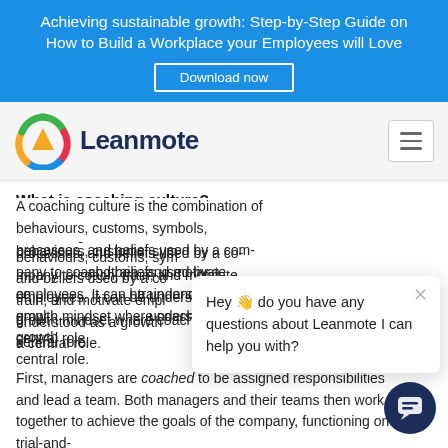Achieving sustainable growth: Step-by-Step Guide on How to Build a Workplace your Employees will Love
Download now
[Figure (logo): Leanmote logo with colorful geometric icon and dark blue wordmark]
What is coaching culture?
A coaching culture is the combination of behaviours, customs, symbols, processes, and beliefs used by a company to coach, train, and motivate employees. It can be understood as a growth mindset where coaching plays a central role.
[Figure (screenshot): Chat popup: Hey 👋 do you have any questions about Leanmote I can help you with?]
First, managers are coached to be assigned responsibilities and lead a team. Both managers and their teams then work together to achieve the goals of the company, functioning on a trial-and-